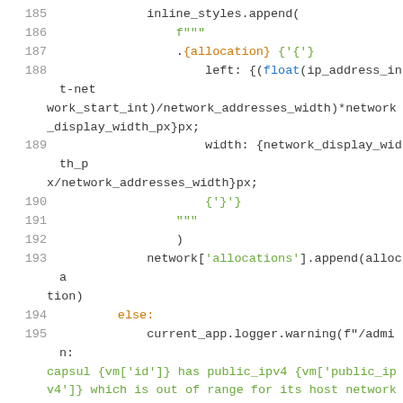[Figure (screenshot): Source code viewer showing Python code lines 185–199, with syntax highlighting: line numbers in gray, string literals in green, keywords in orange, function names in dark, bracket characters in orange.]